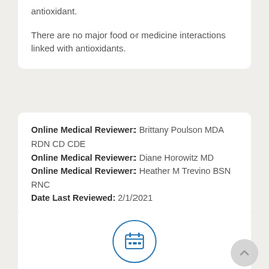antioxidant.

There are no major food or medicine interactions linked with antioxidants.
Online Medical Reviewer: Brittany Poulson MDA RDN CD CDE
Online Medical Reviewer: Diane Horowitz MD
Online Medical Reviewer: Heather M Trevino BSN RNC
Date Last Reviewed: 2/1/2021
[Figure (illustration): Calendar icon inside a blue circle with the text 'Make an Appointment' below it in blue.]